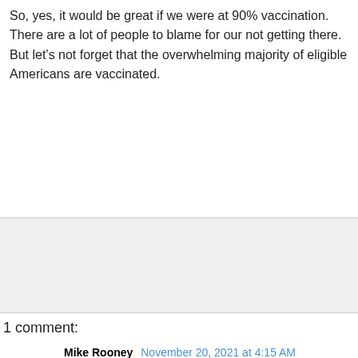So, yes, it would be great if we were at 90% vaccination. There are a lot of people to blame for our not getting there. But let’s not forget that the overwhelming majority of eligible Americans are vaccinated.
[Figure (other): Gray advertisement placeholder box]
1 comment:
Mike Rooney  November 20, 2021 at 4:15 AM
You have a good point here! I totally agree with what you have said!! Thanks for sharing your views...hope more people will read this article!!!
Yellowstone S04 Moses Brings Plenty Jacket
Reply